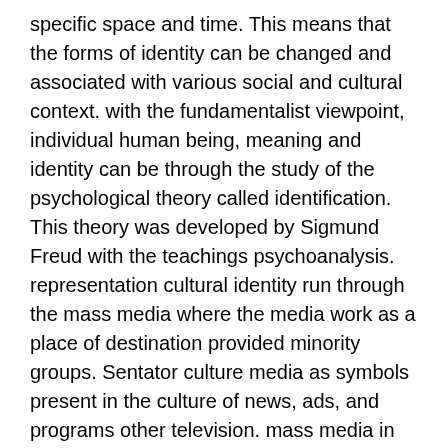specific space and time. This means that the forms of identity can be changed and associated with various social and cultural context. with the fundamentalist viewpoint, individual human being, meaning and identity can be through the study of the psychological theory called identification. This theory was developed by Sigmund Freud with the teachings psychoanalysis. representation cultural identity run through the mass media where the media work as a place of destination provided minority groups. Sentator culture media as symbols present in the culture of news, ads, and programs other television. mass media in context recognition identity this role as a watchdog sustainability of cultural expression and the dominant culture recognizes the special (subclutural) and new developments. Research methods used in this research is to approach semiotics. semiotics sign a role in the system, in any substance and the limitations are; image, signaling movement, body language, gesture, sound, music, object, background, where the mix of things, which form a